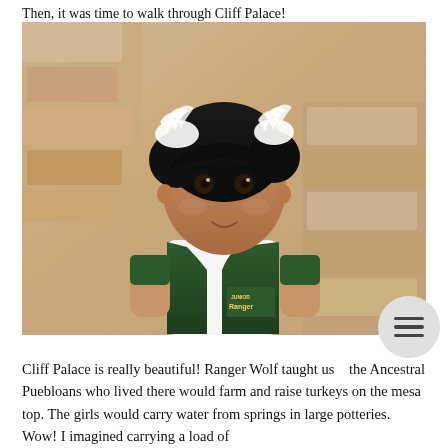Then, it was time to walk through Cliff Palace!
[Figure (photo): A doll dressed in a Junior Ranger vest standing in front of ancient stone cliff dwelling ruins. The doll has black hair with a white feathery headpiece.]
Cliff Palace is really beautiful! Ranger Wolf taught us that the Ancestral Puebloans who lived there would farm and raise turkeys on the mesa top. The girls would carry water from springs in large potteries. Wow! I imagined carrying a load of